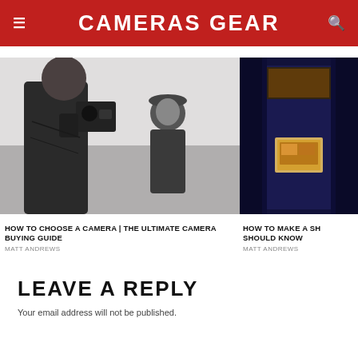CAMERAS GEAR
[Figure (photo): Black and white photo of a man filming a smiling woman with a vintage camera outdoors near water]
[Figure (photo): Dark blue-toned photo of a building exterior with a bright screen/monitor visible]
HOW TO CHOOSE A CAMERA | THE ULTIMATE CAMERA BUYING GUIDE
MATT ANDREWS
HOW TO MAKE A SH SHOULD KNOW
MATT ANDREWS
LEAVE A REPLY
Your email address will not be published.